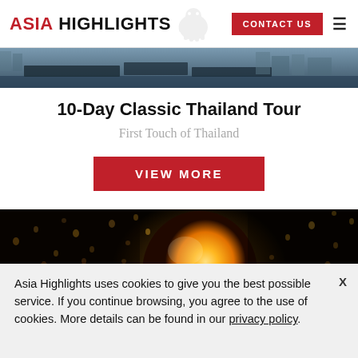ASIA HIGHLIGHTS | CONTACT US
[Figure (photo): Banner photo of river with boats and buildings]
10-Day Classic Thailand Tour
First Touch of Thailand
VIEW MORE
[Figure (photo): Night photo of person holding a glowing sky lantern with many lanterns floating in the dark sky]
Asia Highlights uses cookies to give you the best possible service. If you continue browsing, you agree to the use of cookies. More details can be found in our privacy policy.